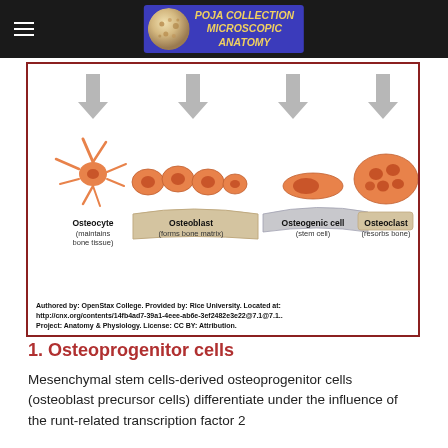POJA COLLECTION MICROSCOPIC ANATOMY
[Figure (illustration): Diagram showing four types of bone cells: Osteocyte (maintains bone tissue) - star-shaped cell; Osteoblast (forms bone matrix) - row of cuboidal cells; Osteogenic cell (stem cell) - elongated cell; Osteoclast (resorbs bone) - large multinucleated cell. Gray arrows point down to each cell type. Attribution: Authored by OpenStax College, Rice University, CC BY Attribution.]
1. Osteoprogenitor cells
Mesenchymal stem cells-derived osteoprogenitor cells (osteoblast precursor cells) differentiate under the influence of the runt-related transcription factor 2